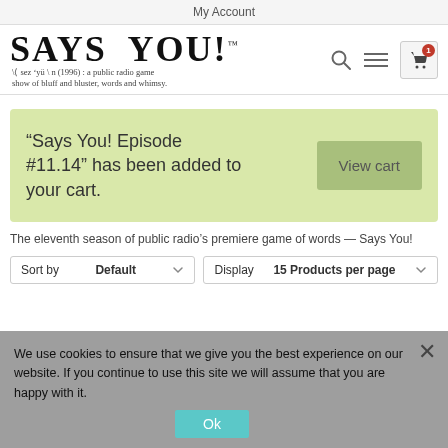My Account
[Figure (logo): Says You! logo with tagline: \sez 'yü \ n (1996) : a public radio game show of bluff and bluster, words and whimsy.]
“Says You! Episode #11.14” has been added to your cart.
View cart
The eleventh season of public radio’s premiere game of words — Says You!
We use cookies to ensure that we give you the best experience on our website. If you continue to use this site we will assume that you are happy with it.
Sort by Default
Display 15 Products per page